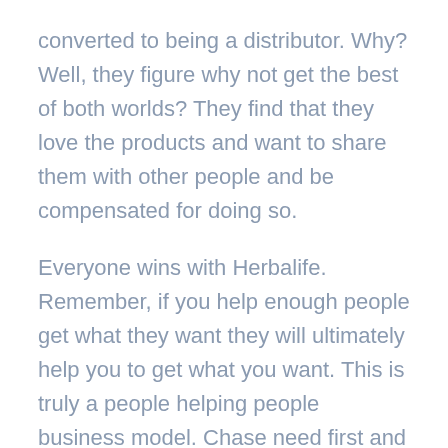converted to being a distributor. Why? Well, they figure why not get the best of both worlds? They find that they love the products and want to share them with other people and be compensated for doing so.

Everyone wins with Herbalife. Remember, if you help enough people get what they want they will ultimately help you to get what you want. This is truly a people helping people business model. Chase need first and the profits will com later. People before profit is the motto here at Nutrition Geeks. Are you ready to get started with us? If so, click on the button below.